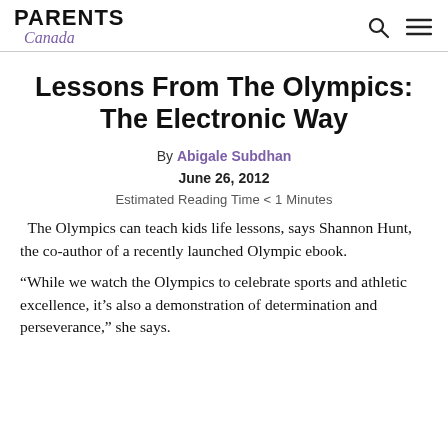PARENTS Canada
Lessons From The Olympics: The Electronic Way
By Abigale Subdhan
June 26, 2012
Estimated Reading Time < 1 Minutes
The Olympics can teach kids life lessons, says Shannon Hunt, the co-author of a recently launched Olympic ebook.
“While we watch the Olympics to celebrate sports and athletic excellence, it’s also a demonstration of determination and perseverance,” she says.